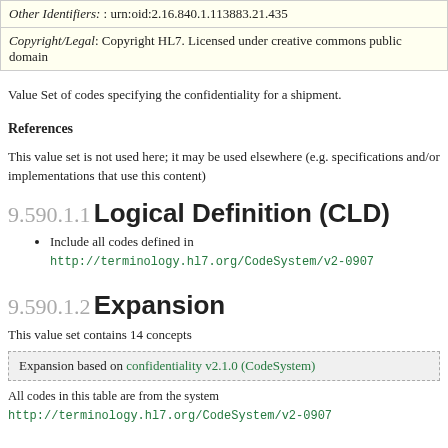| Other Identifiers: : urn:oid:2.16.840.1.113883.21.435 |
| Copyright/Legal: Copyright HL7. Licensed under creative commons public domain |
Value Set of codes specifying the confidentiality for a shipment.
References
This value set is not used here; it may be used elsewhere (e.g. specifications and/or implementations that use this content)
9.590.1.1 Logical Definition (CLD)
Include all codes defined in http://terminology.hl7.org/CodeSystem/v2-0907
9.590.1.2 Expansion
This value set contains 14 concepts
Expansion based on confidentiality v2.1.0 (CodeSystem)
All codes in this table are from the system http://terminology.hl7.org/CodeSystem/v2-0907